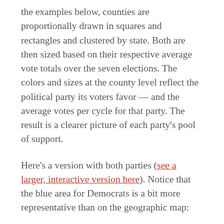the examples below, counties are proportionally drawn in squares and rectangles and clustered by state. Both are then sized based on their respective average vote totals over the seven elections. The colors and sizes at the county level reflect the political party its voters favor — and the average votes per cycle for that party. The result is a clearer picture of each party's pool of support.
Here's a version with both parties (see a larger, interactive version here). Notice that the blue area for Democrats is a bit more representative than on the geographic map: